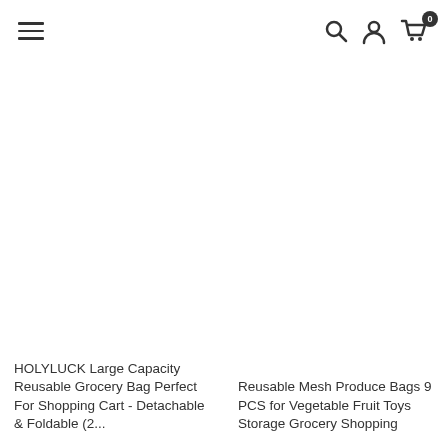Navigation header with hamburger menu, search, account, and cart icons
HOLYLUCK Large Capacity Reusable Grocery Bag Perfect For Shopping Cart - Detachable & Foldable (2...
Reusable Mesh Produce Bags 9 PCS for Vegetable Fruit Toys Storage Grocery Shopping